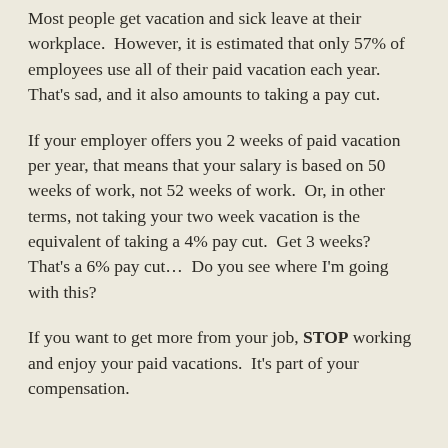Most people get vacation and sick leave at their workplace.  However, it is estimated that only 57% of employees use all of their paid vacation each year.  That's sad, and it also amounts to taking a pay cut.
If your employer offers you 2 weeks of paid vacation per year, that means that your salary is based on 50 weeks of work, not 52 weeks of work.  Or, in other terms, not taking your two week vacation is the equivalent of taking a 4% pay cut.  Get 3 weeks?  That's a 6% pay cut...  Do you see where I'm going with this?
If you want to get more from your job, STOP working and enjoy your paid vacations.  It's part of your compensation.